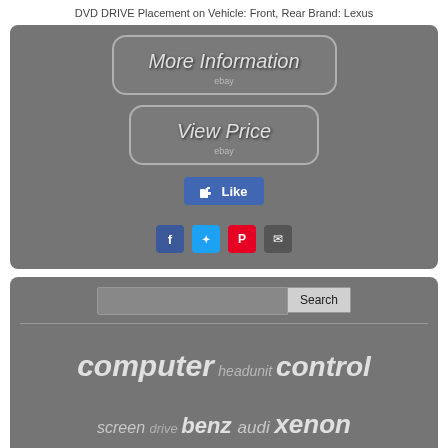DVD DRIVE Placement on Vehicle: Front, Rear Brand: Lexus
[Figure (screenshot): More Information button with ebay label, rounded rectangle on grey background]
[Figure (screenshot): View Price button with ebay label, rounded rectangle on grey background]
[Figure (screenshot): Facebook Like button (blue)]
[Figure (screenshot): Social share icons: Facebook (blue), Twitter (light blue), Pinterest (red), Email (grey)]
[Figure (screenshot): Search bar with Search button on grey panel]
computer headunit control screen drive benz audi xenon